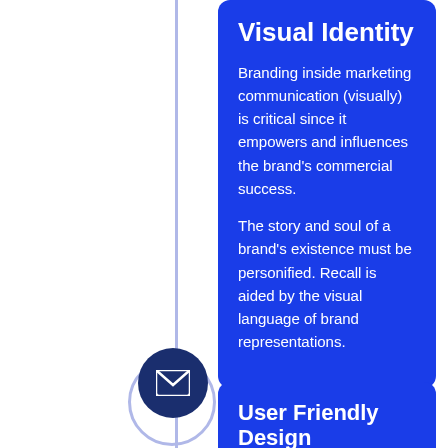Visual Identity
Branding inside marketing communication (visually) is critical since it empowers and influences the brand's commercial success.
The story and soul of a brand's existence must be personified. Recall is aided by the visual language of brand representations.
[Figure (illustration): Dark navy circle with white envelope/mail icon, serving as a timeline node marker]
User Friendly Design
Your company's longevity is